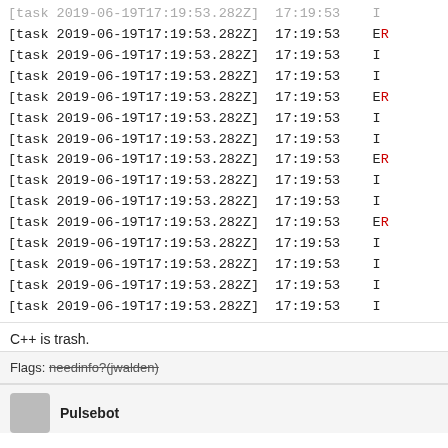[task 2019-06-19T17:19:53.282Z] 17:19:53  I
[task 2019-06-19T17:19:53.282Z] 17:19:53  ER
[task 2019-06-19T17:19:53.282Z] 17:19:53  I
[task 2019-06-19T17:19:53.282Z] 17:19:53  I
[task 2019-06-19T17:19:53.282Z] 17:19:53  ER
[task 2019-06-19T17:19:53.282Z] 17:19:53  I
[task 2019-06-19T17:19:53.282Z] 17:19:53  I
[task 2019-06-19T17:19:53.282Z] 17:19:53  ER
[task 2019-06-19T17:19:53.282Z] 17:19:53  I
[task 2019-06-19T17:19:53.282Z] 17:19:53  I
[task 2019-06-19T17:19:53.282Z] 17:19:53  ER
[task 2019-06-19T17:19:53.282Z] 17:19:53  I
[task 2019-06-19T17:19:53.282Z] 17:19:53  I
[task 2019-06-19T17:19:53.282Z] 17:19:53  I
[task 2019-06-19T17:19:53.282Z] 17:19:53  I
C++ is trash.
Flags: needinfo?(jwalden)
Pulsebot